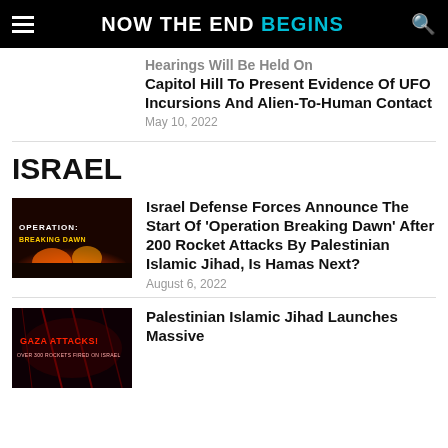NOW THE END BEGINS
Hearings Will Be Held On Capitol Hill To Present Evidence Of UFO Incursions And Alien-To-Human Contact
May 10, 2022
ISRAEL
[Figure (photo): Operation Breaking Dawn graphic with explosion and text]
Israel Defense Forces Announce The Start Of 'Operation Breaking Dawn' After 200 Rocket Attacks By Palestinian Islamic Jihad, Is Hamas Next?
August 6, 2022
[Figure (photo): Gaza Attacks graphic with red text on dark background]
Palestinian Islamic Jihad Launches Massive